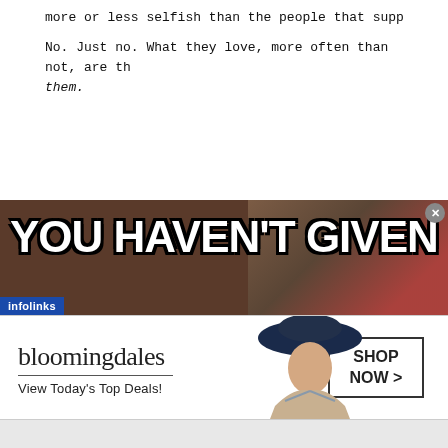more or less selfish than the people that supposedly love...
No. Just no. What they love, more often than not, are th... them.
[Figure (screenshot): Advertisement banner showing 'YOU HAVEN'T GIVEN' text in large bold white letters with black outline over a dark brown background with a partially visible person, with infolinks label at bottom left and a close button at top right]
[Figure (screenshot): Bloomingdale's advertisement banner with logo, 'View Today's Top Deals!' tagline, an image of a woman in a large hat, and a 'SHOP NOW >' button]